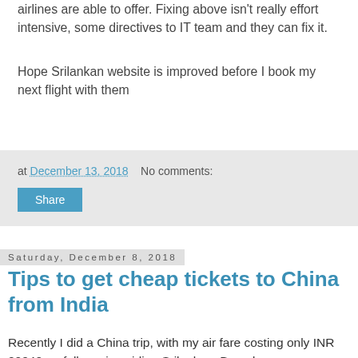airlines are able to offer. Fixing above isn't really effort intensive, some directives to IT team and they can fix it.
Hope Srilankan website is improved before I book my next flight with them
at December 13, 2018   No comments:
Share
Saturday, December 8, 2018
Tips to get cheap tickets to China from India
Recently I did a China trip, with my air fare costing only INR 20040 on full service airline Srilankan. Based on my experience and observations, below are a set of guidelines that can help you find cheap tickets to China, if you wish to explore the dragon nation without burning your pocket.
[Figure (photo): Image related to China travel or flights]